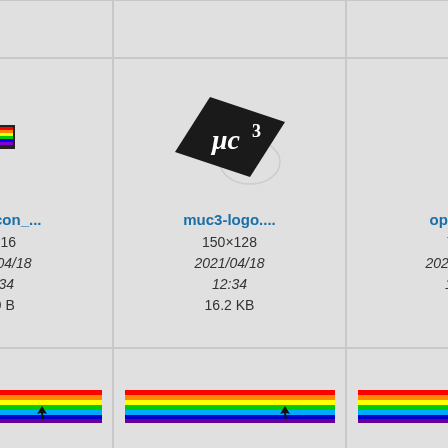[Figure (screenshot): File browser grid showing image thumbnails with filenames, dimensions, dates and file sizes. Row 1: top portions of cards (cropped). Row 2: mail_icon... (16x16, 2021/04/18 12:34, 209 B), muc3-logo... (150x128, 2021/04/18 12:34, 16.2 KB), open.gi... (7x13, 2021/04/18 12:34, 54 B). Row 3: rabbitproof... (1626x281, 2021/04/18 12:34), rabbitproof... (1626x281, 2021/04/18 12:34), rabbitproof... (1626x281, 2021/04/18).]